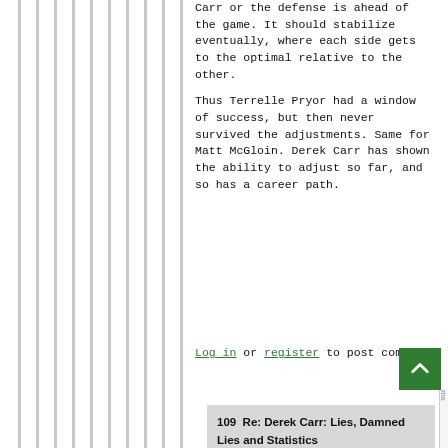Carr or the defense is ahead of the game. It should stabilize eventually, where each side gets to the optimal relative to the other.
Thus Terrelle Pryor had a window of success, but then never survived the adjustments. Same for Matt McGloin. Derek Carr has shown the ability to adjust so far, and so has a career path.
Log in or register to post comments
109  Re: Derek Carr: Lies, Damned Lies and Statistics